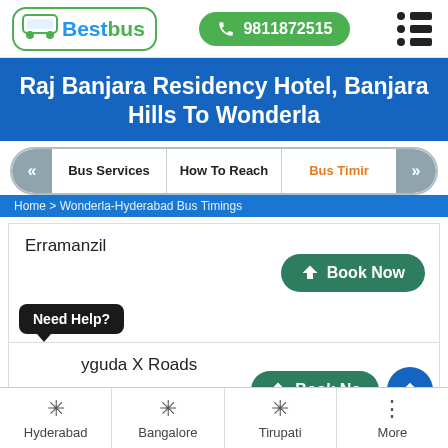[Figure (logo): BestBus logo with green bus icon]
9811872515
Raj Banjara Residency Hotel, Banjara Hills To Wonderla
Bus Services | How To Reach | Bus Timir
Home > Wonderla-Hyderabad Bus Timings
Erramanzil
Book Now
Need Help?
yguda X Roads
Book Now
Hyderabad
Bangalore
Tirupati
More